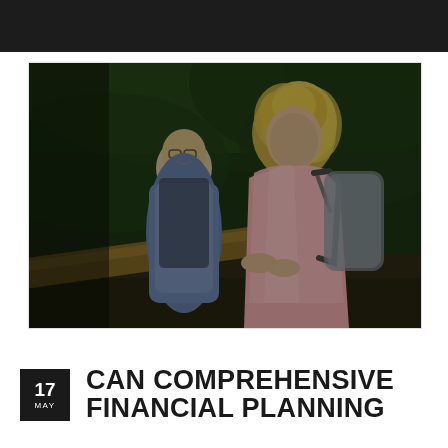[Figure (photo): Middle-aged couple hiking outdoors in a forest. A woman in a pink jacket with a backpack stands in the foreground looking into the distance, while a man wearing glasses and a blue vest smiles in the background. They appear to be resting on or near a wooden log or railing.]
17 MAY CAN COMPREHENSIVE FINANCIAL PLANNING